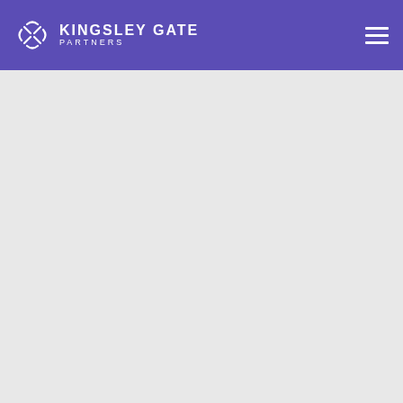KINGSLEY GATE PARTNERS
[Figure (other): Large empty light gray content area below the header]